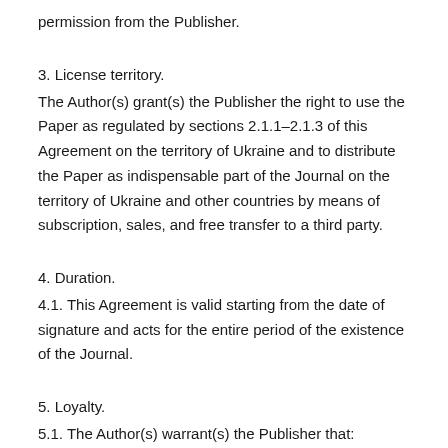permission from the Publisher.
3. License territory.
The Author(s) grant(s) the Publisher the right to use the Paper as regulated by sections 2.1.1–2.1.3 of this Agreement on the territory of Ukraine and to distribute the Paper as indispensable part of the Journal on the territory of Ukraine and other countries by means of subscription, sales, and free transfer to a third party.
4. Duration.
4.1. This Agreement is valid starting from the date of signature and acts for the entire period of the existence of the Journal.
5. Loyalty.
5.1. The Author(s) warrant(s) the Publisher that:
– he/she is the true author (co-author) of the Paper;
– copyright on the Paper was not transferred to any other party;
– the Paper has never been published before and will not be